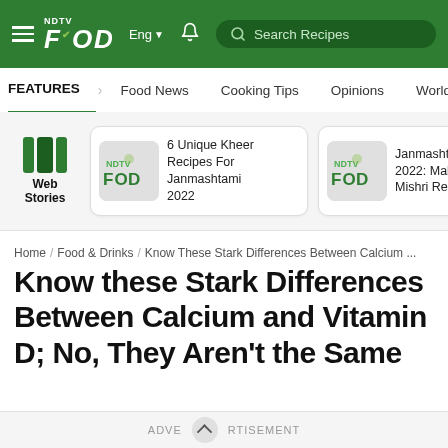NDTV Food | Eng | Search Recipes
FEATURES | Food News | Cooking Tips | Opinions | World Cuisine
[Figure (screenshot): Web Stories section with two story cards: '6 Unique Kheer Recipes For Janmashtami 2022' and 'Janmashtami 2022: Makhana Mishri Re...']
Home / Food & Drinks / Know These Stark Differences Between Calcium ...
Know these Stark Differences Between Calcium and Vitamin D; No, They Aren't the Same
ADVERTISEMENT